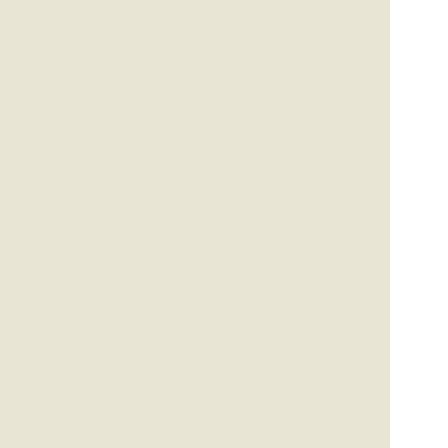chaoticvictory, colour, cop from mars, could, dancer meg, deepfrie, dreamedadream, etude, frenchbeauty, future q, gleekk, halfelfprodigy, hannah griffith, healin, hosoverbros , human, itsasonic, keeferson, k, koreandrummer, ladyc, lostwhitelight, make y, me chrysologus, mika, nevergoodenough, not, notahandinajar, notjus, ohspoilers, onconscier, opensalldoors, oypood, paperclip ninja, parric, phoenixborn, pleasant, pluckymcgee, preppie, provemyfaith, rabbitsl, rebelintweed, sarahw, shagginwagon, shakira, smartalec, son of a ja, sookiesfault, sparkling, stillduels, survived sc, tanaseduction, the co